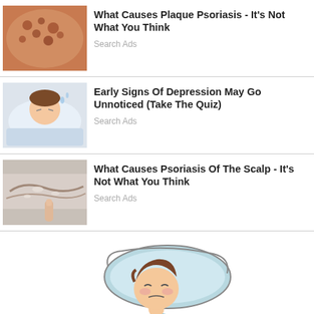[Figure (photo): Skin showing psoriasis bumps/lesions, close-up photo]
What Causes Plaque Psoriasis - It's Not What You Think
Search Ads
[Figure (illustration): Cartoon illustration of a person lying in bed looking distressed]
Early Signs Of Depression May Go Unnoticed (Take The Quiz)
Search Ads
[Figure (photo): Close-up photo of scalp psoriasis]
What Causes Psoriasis Of The Scalp - It's Not What You Think
Search Ads
[Figure (illustration): Cartoon illustration of a person in blue pajamas lying on a pillow, clutching stomach/knees in pain or discomfort]